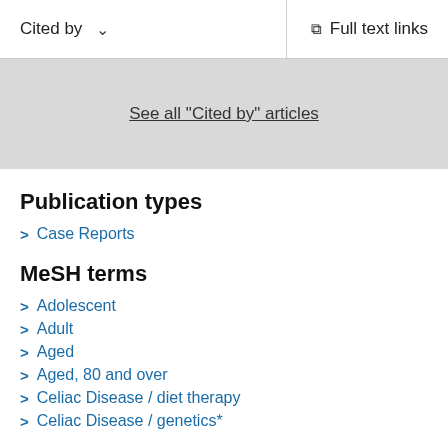Cited by   Full text links
See all "Cited by" articles
Publication types
Case Reports
MeSH terms
Adolescent
Adult
Aged
Aged, 80 and over
Celiac Disease / diet therapy
Celiac Disease / genetics*